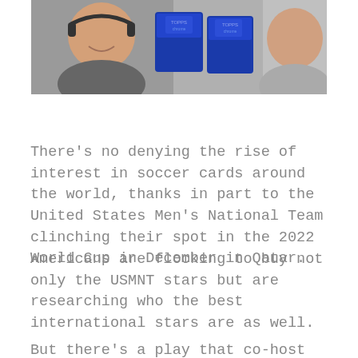[Figure (photo): Two men smiling at the camera with Topps Chrome trading card boxes visible between them in the background]
There’s no denying the rise of interest in soccer cards around the world, thanks in part to the United States Men’s National Team clinching their spot in the 2022 World Cup in December in Qatar.
Americans are flocking to buy not only the USMNT stars but are researching who the best international stars are as well.
But there’s a play that co-host Kendall McKee and I feel is super sneaky. 2021